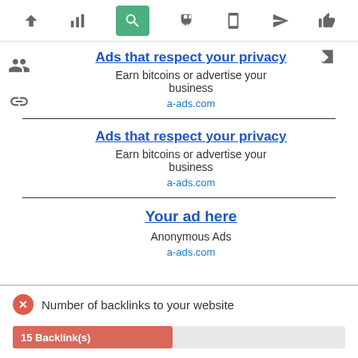[Figure (screenshot): Top navigation toolbar with icons: up-arrow, bar-chart, search (active/green), thumbs-up, mobile, send/arrow, thumbs-up-outline]
[Figure (infographic): Two small icons on the left side: group/people icon and link/chain icon]
Ads that respect your privacy
Earn bitcoins or advertise your business
a-ads.com
Ads that respect your privacy
Earn bitcoins or advertise your business
a-ads.com
Your ad here
Anonymous Ads
a-ads.com
Number of backlinks to your website
15 Backlink(s)